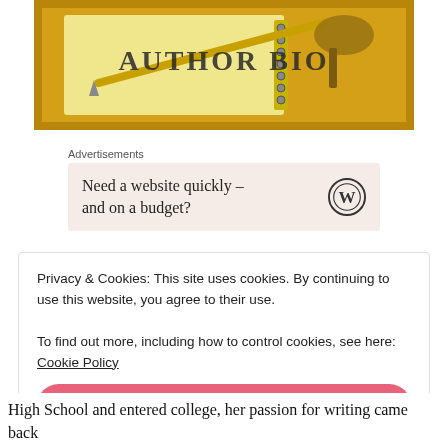[Figure (illustration): Author Bio banner image showing a notebook with pen on a golden/yellow background with the text 'AUTHOR BIO' overlaid]
Advertisements
[Figure (infographic): Advertisement box with pinkish background. Text reads 'Need a website quickly – and on a budget?' with a WordPress logo on the right.]
Privacy & Cookies: This site uses cookies. By continuing to use this website, you agree to their use. To find out more, including how to control cookies, see here: Cookie Policy
Close and accept
High School and entered college, her passion for writing came back